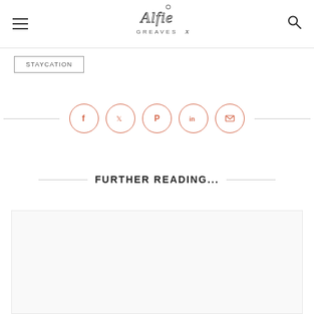Alfie Greaves X
STAYCATION
[Figure (infographic): Social share icons row: Facebook, Twitter, Pinterest, LinkedIn, Email — coral outlined circles with horizontal lines on each side]
FURTHER READING...
[Figure (photo): White/light card placeholder at the bottom of the page]